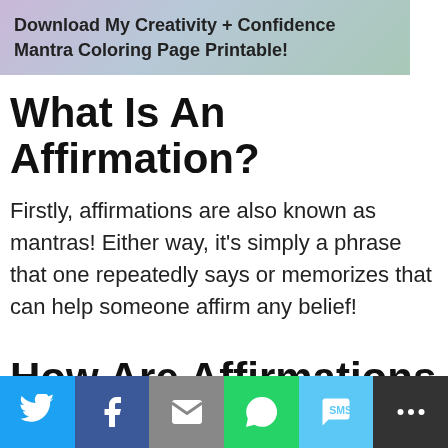[Figure (illustration): Pastel gradient banner (pink/blue/green) with bold text: Download My Creativity + Confidence Mantra Coloring Page Printable!]
What Is An Affirmation?
Firstly, affirmations are also known as mantras! Either way, it's simply a phrase that one repeatedly says or memorizes that can help someone affirm any belief!
How Are Affirmations Helpful For Kids With
[Figure (infographic): Social share bar with Twitter, Facebook, Email, WhatsApp, SMS, and More buttons]